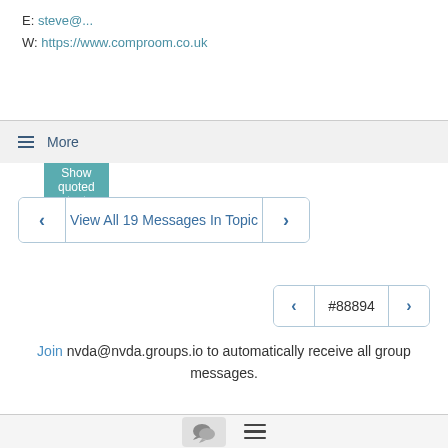E: steve@...
W: https://www.comproom.co.uk
Show quoted text
≡ More
View All 19 Messages In Topic
#88894
Join nvda@nvda.groups.io to automatically receive all group messages.